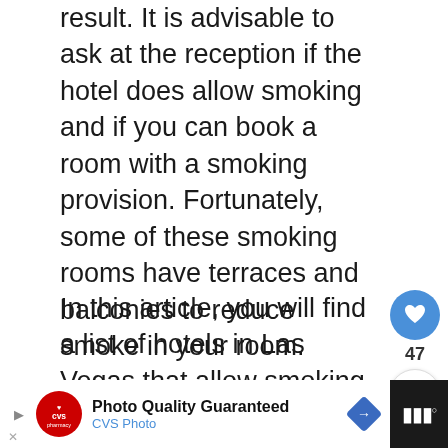result. It is advisable to ask at the reception if the hotel does allow smoking and if you can book a room with a smoking provision. Fortunately, some of these smoking rooms have terraces and balconies to reduce smoke in your room.
In this article, you will find a list of hotels in Las Vegas that allow smoking on their casino floors and have dedicated guest rooms that are free to have a cloud in-in a manner of speech.
[Figure (other): Social interaction buttons: heart/like button (blue circle with heart icon), count of 47, and share button (circle with share icon)]
[Figure (other): WHAT'S NEXT promotional card with thumbnail image and text '13 Best Las Vegas Hotel...']
[Figure (other): CVS Photo advertisement banner: 'Photo Quality Guaranteed / CVS Photo' with CVS logo and navigation arrows, on dark background]